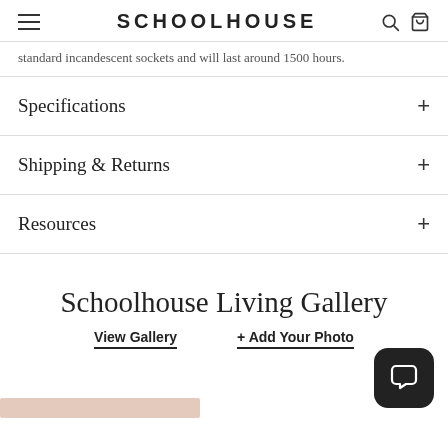SCHOOLHOUSE
standard incandescent sockets and will last around 1500 hours.
Specifications
Shipping & Returns
Resources
Schoolhouse Living Gallery
View Gallery  + Add Your Photo